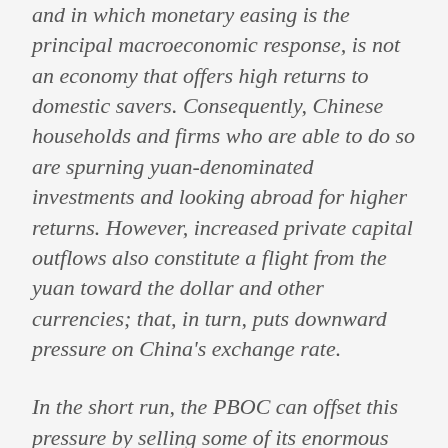and in which monetary easing is the principal macroeconomic response, is not an economy that offers high returns to domestic savers. Consequently, Chinese households and firms who are able to do so are spurning yuan-denominated investments and looking abroad for higher returns. However, increased private capital outflows also constitute a flight from the yuan toward the dollar and other currencies; that, in turn, puts downward pressure on China's exchange rate.
In the short run, the PBOC can offset this pressure by selling some of its enormous stocks of dollar-denominated securities and buying yuan; indeed, Chinese reserves have fallen over $700 billion over the past year and